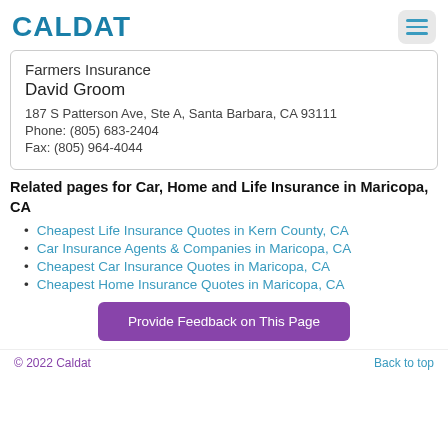CALDAT
Farmers Insurance
David Groom
187 S Patterson Ave, Ste A, Santa Barbara, CA 93111
Phone: (805) 683-2404
Fax: (805) 964-4044
Related pages for Car, Home and Life Insurance in Maricopa, CA
Cheapest Life Insurance Quotes in Kern County, CA
Car Insurance Agents & Companies in Maricopa, CA
Cheapest Car Insurance Quotes in Maricopa, CA
Cheapest Home Insurance Quotes in Maricopa, CA
Provide Feedback on This Page
© 2022 Caldat    Back to top